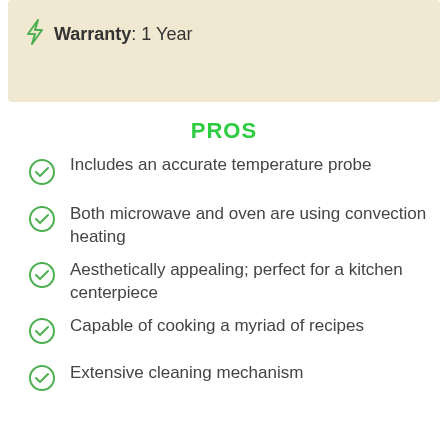Warranty: 1 Year
PROS
Includes an accurate temperature probe
Both microwave and oven are using convection heating
Aesthetically appealing; perfect for a kitchen centerpiece
Capable of cooking a myriad of recipes
Extensive cleaning mechanism